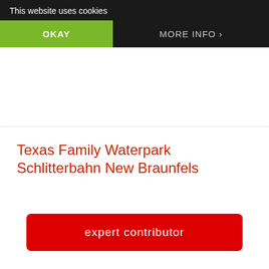This website uses cookies
OKAY
MORE INFO
Teaching Kids about Responsible Consumption & Production
Texas Family Waterpark Schlitterbahn New Braunfels
expert contributor